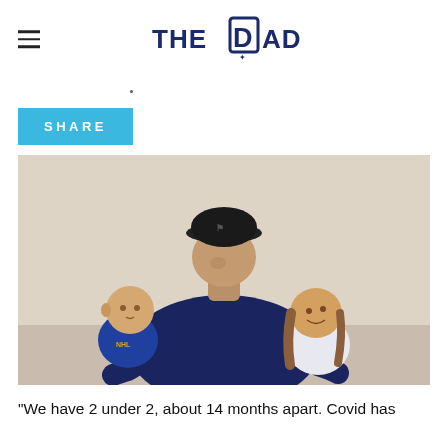THE DAD
SHARE
[Figure (photo): A man wearing a black baseball cap with a Toronto Maple Leafs logo, smiling, holding a baby in a blue hockey jersey on his left and a young girl in a white hockey jersey on his right. Both children are looking up at him.]
"We have 2 under 2, about 14 months apart. Covid has